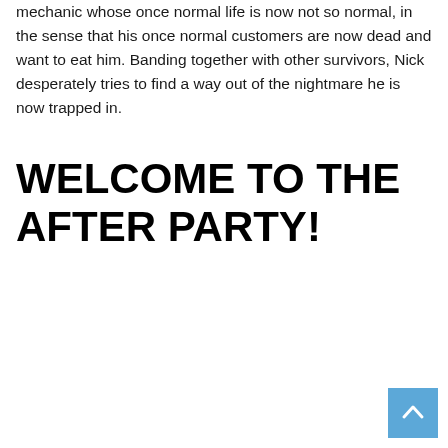mechanic whose once normal life is now not so normal, in the sense that his once normal customers are now dead and want to eat him. Banding together with other survivors, Nick desperately tries to find a way out of the nightmare he is now trapped in.
WELCOME TO THE AFTER PARTY!